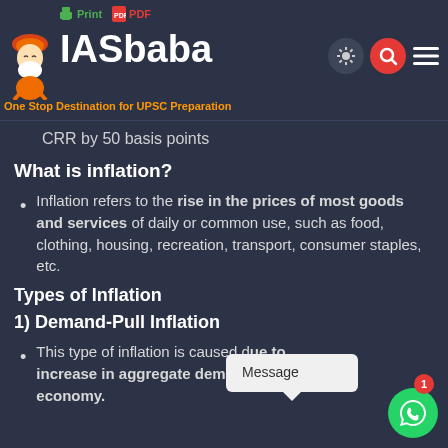IASbaba — One Stop Destination for UPSC Preparation
CRR by 50 basis points
What is inflation?
Inflation refers to the rise in the prices of most goods and services of daily or common use, such as food, clothing, housing, recreation, transport, consumer staples, etc.
Types of Inflation
1) Demand-Pull Inflation
This type of inflation is caused due to increase in aggregate demand in the economy.